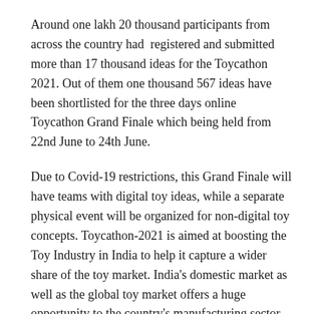Around one lakh 20 thousand participants from across the country had registered and submitted more than 17 thousand ideas for the Toycathon 2021. Out of them one thousand 567 ideas have been shortlisted for the three days online Toycathon Grand Finale which being held from 22nd June to 24th June.
Due to Covid-19 restrictions, this Grand Finale will have teams with digital toy ideas, while a separate physical event will be organized for non-digital toy concepts. Toycathon-2021 is aimed at boosting the Toy Industry in India to help it capture a wider share of the toy market. India's domestic market as well as the global toy market offers a huge opportunity to the country's manufacturing sector.
Comments are closed here.